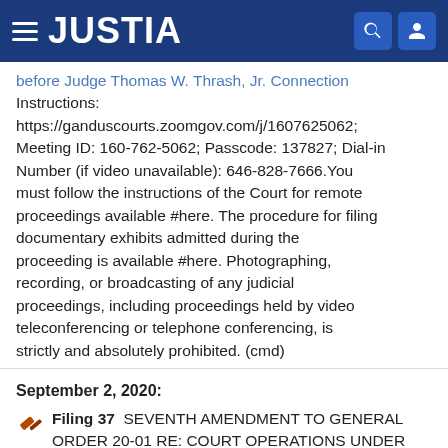JUSTIA
before Judge Thomas W. Thrash, Jr. Connection Instructions: https://ganduscourts.zoomgov.com/j/1607625062; Meeting ID: 160-762-5062; Passcode: 137827; Dial-in Number (if video unavailable): 646-828-7666.You must follow the instructions of the Court for remote proceedings available #here. The procedure for filing documentary exhibits admitted during the proceeding is available #here. Photographing, recording, or broadcasting of any judicial proceedings, including proceedings held by video teleconferencing or telephone conferencing, is strictly and absolutely prohibited. (cmd)
September 2, 2020: Filing 37 SEVENTH AMENDMENT TO GENERAL ORDER 20-01 RE: COURT OPERATIONS UNDER THE EXIGENT CIRCUMSTANCES CREATED BY COVID-19